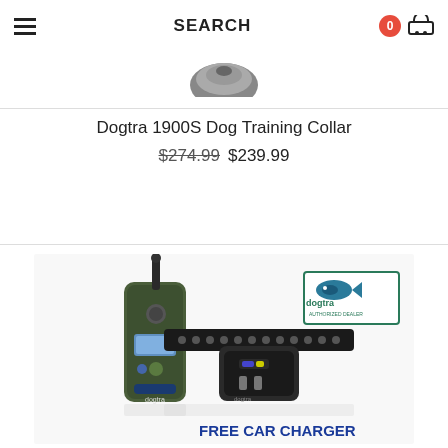SEARCH
[Figure (photo): Partial product image visible at top, dark circular object on white background]
Dogtra 1900S Dog Training Collar
$274.99 $239.99
[Figure (photo): Dogtra dog training collar product image showing handheld remote transmitter and receiver collar with strap; Dogtra Authorized Dealer logo in top right; FREE CAR CHARGER text at bottom]